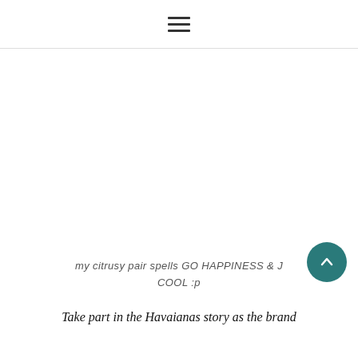≡
[Figure (photo): Large white/blank image area representing a photo of citrusy Havaianas sandals]
my citrusy pair spells GO HAPPINESS & J COOL :p
Take part in the Havaianas story as the brand